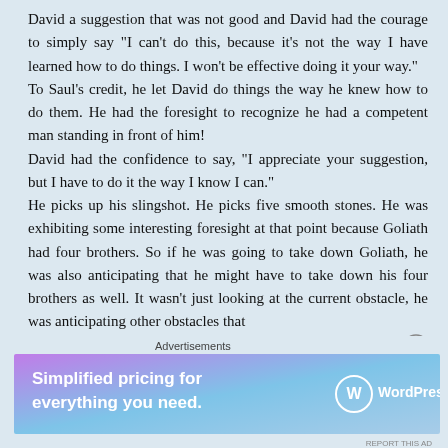David a suggestion that was not good and David had the courage to simply say "I can't do this, because it's not the way I have learned how to do things. I won't be effective doing it your way."
To Saul's credit, he let David do things the way he knew how to do them. He had the foresight to recognize he had a competent man standing in front of him!
David had the confidence to say, "I appreciate your suggestion, but I have to do it the way I know I can."
He picks up his slingshot. He picks five smooth stones. He was exhibiting some interesting foresight at that point because Goliath had four brothers. So if he was going to take down Goliath, he was also anticipating that he might have to take down his four brothers as well. It wasn't just looking at the current obstacle, he was anticipating other obstacles that
Advertisements
[Figure (infographic): WordPress.com advertisement banner with gradient purple-blue background. Text reads 'Simplified pricing for everything you need.' with WordPress.com logo on the right.]